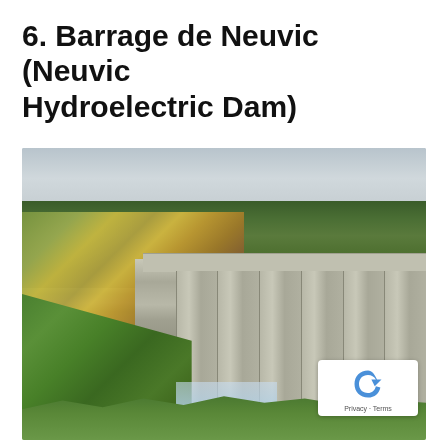6. Barrage de Neuvic (Neuvic Hydroelectric Dam)
[Figure (photo): Photograph of the Neuvic Hydroelectric Dam (Barrage de Neuvic) showing the concrete arch dam structure with vertical buttresses, a road on top, green embankment on the left, autumn-colored forest trees surrounding the dam, water discharge at the base, and an overcast sky. A reCAPTCHA logo with Privacy and Terms links appears in the lower right corner.]